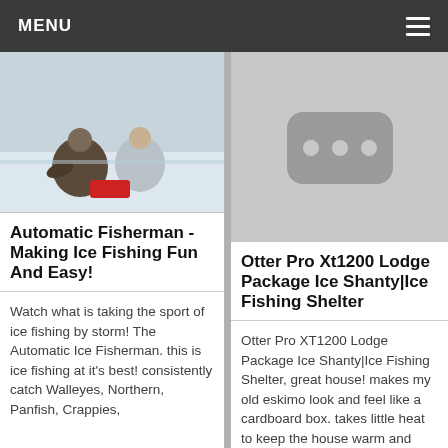MENU
[Figure (photo): Two people ice fishing, crouched on snow/ice, with red equipment visible]
Automatic Fisherman - Making Ice Fishing Fun And Easy!
Watch what is taking the sport of ice fishing by storm! The Automatic Ice Fisherman. this is ice fishing at it's best! consistently catch Walleyes, Northern, Panfish, Crappies,
[Figure (screenshot): Gray video thumbnail placeholder with rounded rectangle and three dots icon]
Otter Pro Xt1200 Lodge Package Ice Shanty|Ice Fishing Shelter
Otter Pro XT1200 Lodge Package Ice Shanty|Ice Fishing Shelter, great house! makes my old eskimo look and feel like a cardboard box. takes little heat to keep the house warm and haven't